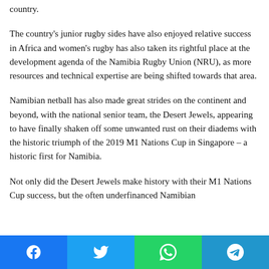country.
The country's junior rugby sides have also enjoyed relative success in Africa and women's rugby has also taken its rightful place at the development agenda of the Namibia Rugby Union (NRU), as more resources and technical expertise are being shifted towards that area.
Namibian netball has also made great strides on the continent and beyond, with the national senior team, the Desert Jewels, appearing to have finally shaken off some unwanted rust on their diadems with the historic triumph of the 2019 M1 Nations Cup in Singapore – a historic first for Namibia.
Not only did the Desert Jewels make history with their M1 Nations Cup success, but the often underfinanced Namibian
Facebook Twitter WhatsApp Telegram